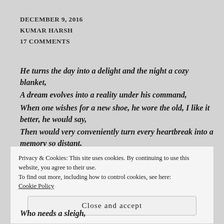DECEMBER 9, 2016
KUMAR HARSH
17 COMMENTS
He turns the day into a delight and the night a cozy blanket,
A dream evolves into a reality under his command,
When one wishes for a new shoe, he wore the old, I like it better, he would say,
Then would very conveniently turn every heartbreak into a memory so distant,
And would bring home the sweetest of delights,
Privacy & Cookies: This site uses cookies. By continuing to use this website, you agree to their use.
To find out more, including how to control cookies, see here:
Cookie Policy
Close and accept
Who needs a sleigh,